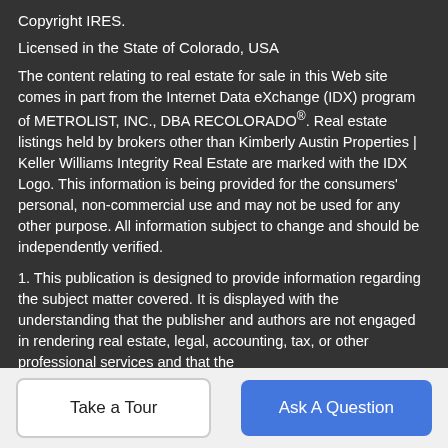Copyright IRES.
Licensed in the State of Colorado, USA
The content relating to real estate for sale in this Web site comes in part from the Internet Data eXchange (IDX) program of METROLIST, INC., DBA RECOLORADO®. Real estate listings held by brokers other than Kimberly Austin Properties | Keller Williams Integrity Real Estate are marked with the IDX Logo. This information is being provided for the consumers' personal, non-commercial use and may not be used for any other purpose. All information subject to change and should be independently verified.
1. This publication is designed to provide information regarding the subject matter covered. It is displayed with the understanding that the publisher and authors are not engaged in rendering real estate, legal, accounting, tax, or other professional services and that the
Take a Tour
Ask A Question